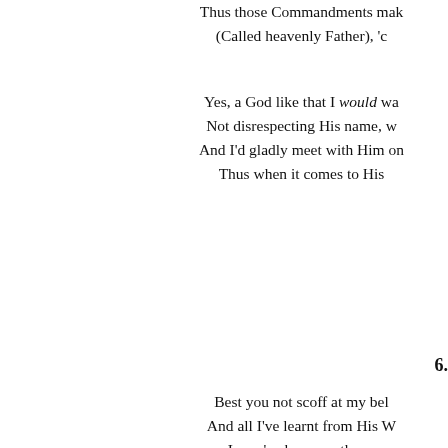Thus those Commandments mak
(Called heavenly Father), 'c
Yes, a God like that I would wa
Not disrespecting His name, w
And I'd gladly meet with Him on
Thus when it comes to His
6.
Best you not scoff at my bel
And all I've learnt from His W
I may've been another c
No moral code in my heart, b
But Jesus changed everything, sof
All why I see differently now,
I no longer in the dark
Where both I and the future are he
Yes, it all having given me